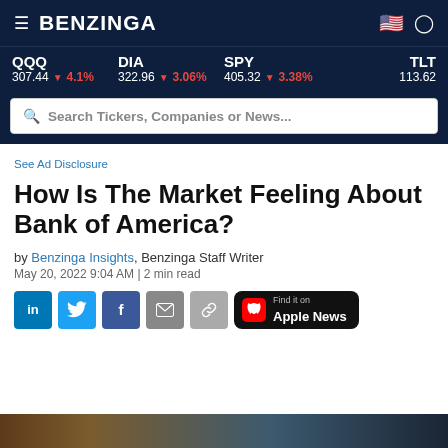BENZINGA
QQQ 307.44 ▼ 4.1% | DIA 322.96 ▼ 3.06% | SPY 405.32 ▼ 3.38% | TLT 113.62
Search Tickers, Companies or News...
See Ad Disclosure
How Is The Market Feeling About Bank of America?
by Benzinga Insights, Benzinga Staff Writer
May 20, 2022 9:04 AM | 2 min read
[Figure (screenshot): Social share buttons: LinkedIn, Twitter, Facebook, Email, Link, and Find it on Apple News button]